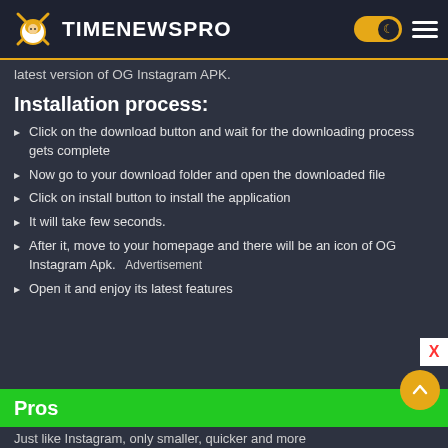TIMENEWSPRO
latest version of OG Instagram APK.
Installation process:
Click on the download button and wait for the downloading process gets complete
Now go to your download folder and open the downloaded file
Click on install button to install the application
It will take few seconds.
After it, move to your homepage and there will be an icon of OG Instagram Apk.   Advertisement
Open it and enjoy its latest features
Pros
Just like Instagram, only smaller, quicker and more